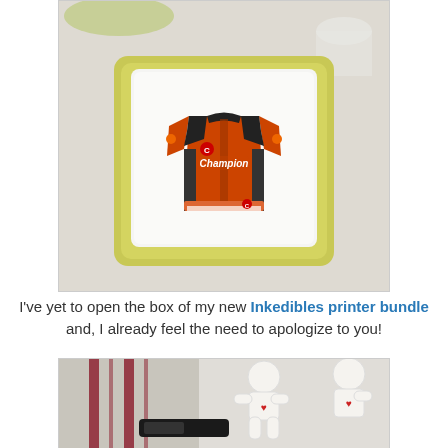[Figure (photo): A square decorated cookie with white royal icing topped with an edible image of a Champion brand cycling jersey in orange and black, sitting on a light-colored table surface with a glass visible in the background.]
I've yet to open the box of my new Inkedibles printer bundle and, I already feel the need to apologize to you!
[Figure (photo): Partially visible photo showing decorated cookies shaped like gingerbread people with white icing and small red heart details, alongside what appears to be a striped cloth or packaging.]